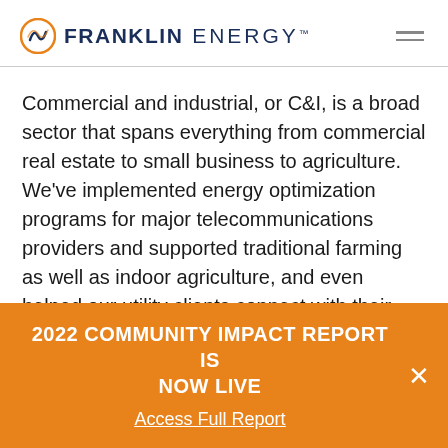Franklin Energy
Commercial and industrial, or C&I, is a broad sector that spans everything from commercial real estate to small business to agriculture. We've implemented energy optimization programs for major telecommunications providers and supported traditional farming as well as indoor agriculture, and even helped our utility clients connect with their local hard-to-reach small businesses like grocery stores and
2022 COMMUNITY IMPACT REPORT IS NOW LIVE
Access Full Report